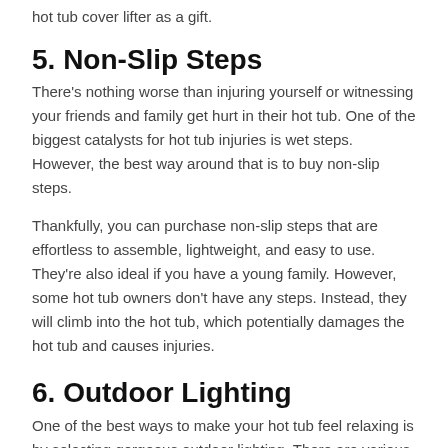hot tub cover lifter as a gift.
5. Non-Slip Steps
There's nothing worse than injuring yourself or witnessing your friends and family get hurt in their hot tub. One of the biggest catalysts for hot tub injuries is wet steps. However, the best way around that is to buy non-slip steps.
Thankfully, you can purchase non-slip steps that are effortless to assemble, lightweight, and easy to use. They're also ideal if you have a young family. However, some hot tub owners don't have any steps. Instead, they will climb into the hot tub, which potentially damages the hot tub and causes injuries.
6. Outdoor Lighting
One of the best ways to make your hot tub feel relaxing is by selecting gorgeous outdoor lighting. There are various lighting options you can use to really illuminate and light up